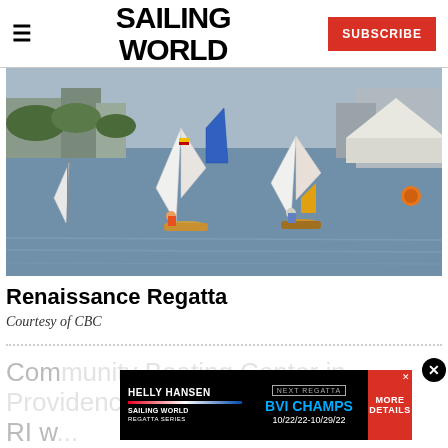SAILING WORLD
[Figure (photo): Sailboats racing on open water near a harbor with buildings and a white tent structure in the background. Multiple small sailboats with white and blue sails visible.]
Renaissance Regatta
Courtesy of CBC
Community Boating Center in Providence, RI w...
[Figure (infographic): Advertisement banner: Helly Hansen Sailing World Regatta Series / Next Regatta: BVI CHAMPS 10/22/22-10/29/22 / More Details]